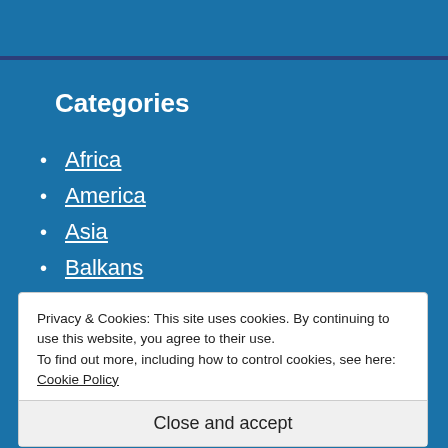Categories
Africa
America
Asia
Balkans
Business
Central America
Privacy & Cookies: This site uses cookies. By continuing to use this website, you agree to their use.
To find out more, including how to control cookies, see here: Cookie Policy
Close and accept
Hezbollah